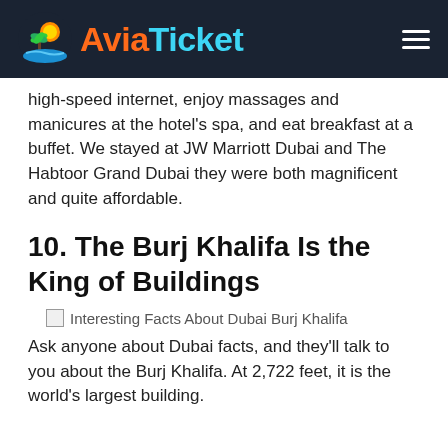AviaTicket
high-speed internet, enjoy massages and manicures at the hotel's spa, and eat breakfast at a buffet. We stayed at JW Marriott Dubai and The Habtoor Grand Dubai they were both magnificent and quite affordable.
10. The Burj Khalifa Is the King of Buildings
[Figure (photo): Interesting Facts About Dubai Burj Khalifa - image placeholder shown with broken image icon and alt text]
Ask anyone about Dubai facts, and they'll talk to you about the Burj Khalifa. At 2,722 feet, it is the world's largest building.